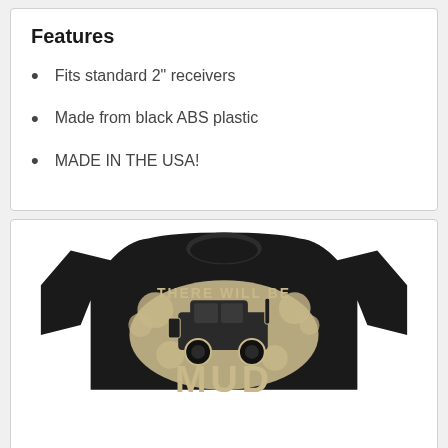Features
Fits standard 2" receivers
Made from black ABS plastic
MADE IN THE USA!
[Figure (photo): Black t-shirt with graphic design showing an off-road truck in mud splatter, text reading 'THERE WILL BE MUD']